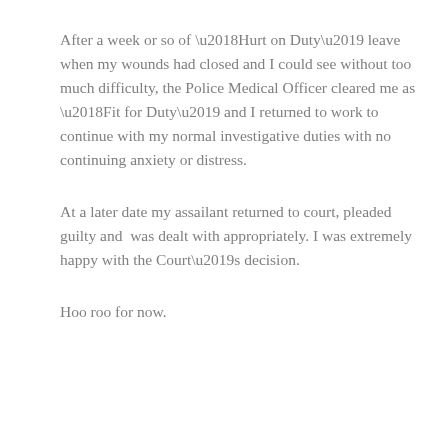After a week or so of ‘Hurt on Duty’ leave when my wounds had closed and I could see without too much difficulty, the Police Medical Officer cleared me as ‘Fit for Duty’ and I returned to work to continue with my normal investigative duties with no continuing anxiety or distress.
At a later date my assailant returned to court, pleaded guilty and  was dealt with appropriately. I was extremely happy with the Court’s decision.
Hoo roo for now.